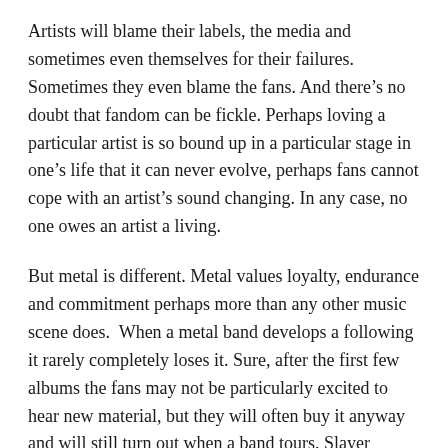Artists will blame their labels, the media and sometimes even themselves for their failures. Sometimes they even blame the fans. And there's no doubt that fandom can be fickle. Perhaps loving a particular artist is so bound up in a particular stage in one's life that it can never evolve, perhaps fans cannot cope with an artist's sound changing. In any case, no one owes an artist a living.
But metal is different. Metal values loyalty, endurance and commitment perhaps more than any other music scene does. When a metal band develops a following it rarely completely loses it. Sure, after the first few albums the fans may not be particularly excited to hear new material, but they will often buy it anyway and will still turn out when a band tours. Slayer haven't released an album that anyone got really excited about since 1990, but their